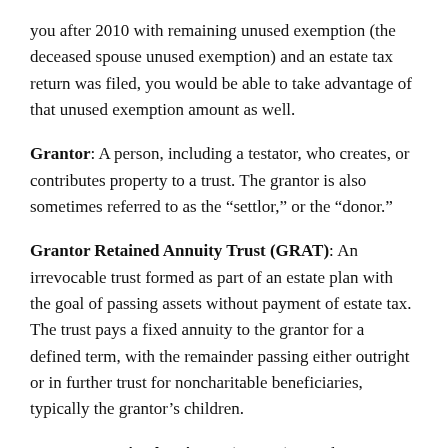you after 2010 with remaining unused exemption (the deceased spouse unused exemption) and an estate tax return was filed, you would be able to take advantage of that unused exemption amount as well.
Grantor: A person, including a testator, who creates, or contributes property to a trust. The grantor is also sometimes referred to as the “settlor,” or the “donor.”
Grantor Retained Annuity Trust (GRAT): An irrevocable trust formed as part of an estate plan with the goal of passing assets without payment of estate tax. The trust pays a fixed annuity to the grantor for a defined term, with the remainder passing either outright or in further trust for noncharitable beneficiaries, typically the grantor’s children.
Grantor Retained Unitrust (GRUT): Similar to a GRAT,